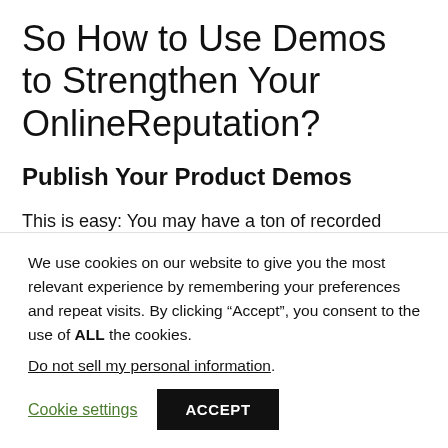So How to Use Demos to Strengthen Your OnlineReputation?
Publish Your Product Demos
This is easy: You may have a ton of recorded demos by now. It will likely be easy for you to find some you can publicize for others to see.
We use cookies on our website to give you the most relevant experience by remembering your preferences and repeat visits. By clicking “Accept”, you consent to the use of ALL the cookies.
Do not sell my personal information.
Cookie settings  ACCEPT